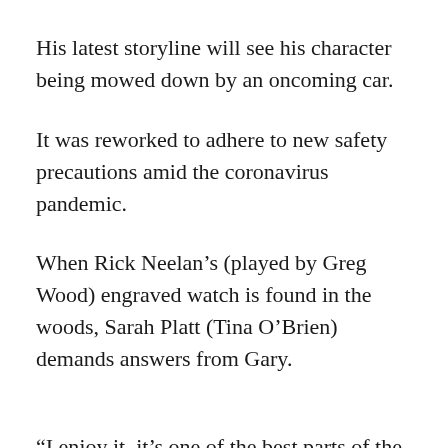His latest storyline will see his character being mowed down by an oncoming car.
It was reworked to adhere to new safety precautions amid the coronavirus pandemic.
When Rick Neelan's (played by Greg Wood) engraved watch is found in the woods, Sarah Platt (Tina O'Brien) demands answers from Gary.
“I enjoy it, it’s one of the best parts of the job for me so luckily they let me do it. I was on the bonnet of the car and it was good fun, I really enjoy it,